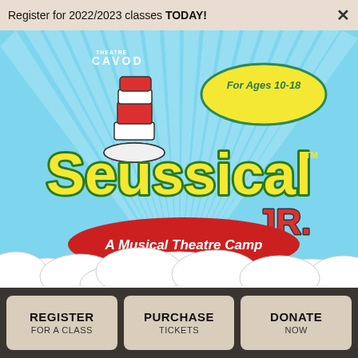Register for 2022/2023 classes TODAY!
[Figure (illustration): Seussical Jr. A Musical Theatre Camp promotional poster for Ages 10-18. Shows the Cat in the Hat's hat, colorful sunbeams on light blue background, yellow stylized text 'Seussical Jr. TM', a red oval badge reading 'A Musical Theatre Camp', a yellow oval badge reading 'For Ages 10-18', and CAVOD Theatre logo in top left. Bottom shows white cloud cutout shapes.]
REGISTER FOR A CLASS
PURCHASE TICKETS
DONATE NOW